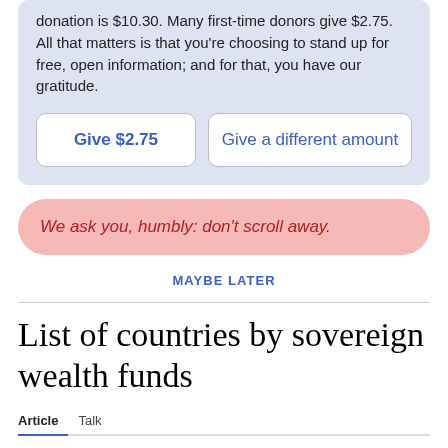donation is $10.30. Many first-time donors give $2.75. All that matters is that you're choosing to stand up for free, open information; and for that, you have our gratitude.
Give $2.75
Give a different amount
We ask you, humbly: don't scroll away.
MAYBE LATER
List of countries by sovereign wealth funds
Article   Talk